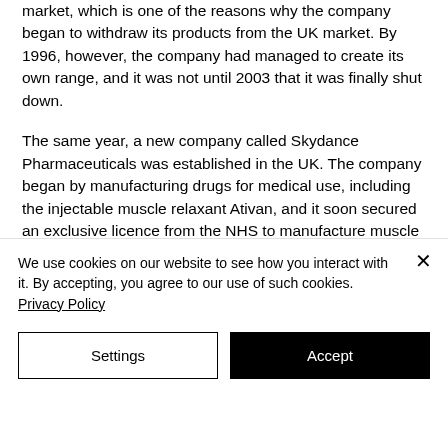market, which is one of the reasons why the company began to withdraw its products from the UK market. By 1996, however, the company had managed to create its own range, and it was not until 2003 that it was finally shut down.
The same year, a new company called Skydance Pharmaceuticals was established in the UK. The company began by manufacturing drugs for medical use, including the injectable muscle relaxant Ativan, and it soon secured an exclusive licence from the NHS to manufacture muscle supplement
We use cookies on our website to see how you interact with it. By accepting, you agree to our use of such cookies. Privacy Policy